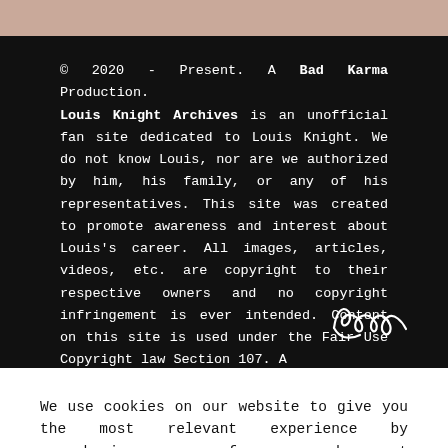© 2020 - Present. A Bad Karma Production. Louis Knight Archives is an unofficial fan site dedicated to Louis Knight. We do not know Louis, nor are we authorized by him, his family, or any of his representatives. This site was created to promote awareness and interest about Louis's career. All images, articles, videos, etc. are copyright to their respective owners and no copyright infringement is ever intended. Content on this site is used under the Fair Use Copyright law Section 107. A
[Figure (illustration): Cursive handwritten signature reading 'margot' or similar]
We use cookies on our website to give you the most relevant experience by remembering your preferences and repeat visits. By clicking “Accept”, you consent to the use of ALL the cookies.